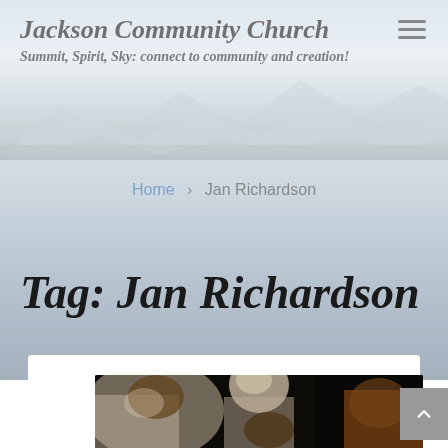Jackson Community Church
Summit, Spirit, Sky: connect to community and creation!
Home › Jan Richardson
Tag: Jan Richardson
[Figure (photo): Caravaggio-style religious painting showing several figures in dramatic chiaroscuro lighting, dark background with figures in foreground]